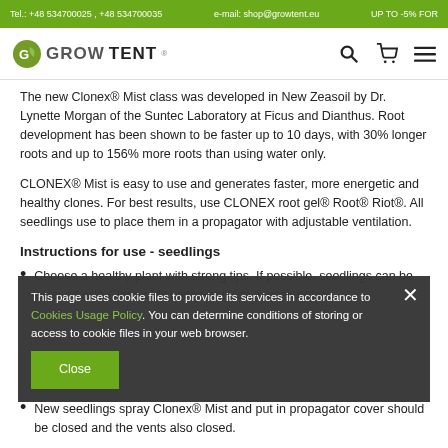Tel.: +48 534700025 , +48 534700035   e-mail: shop@growtent.eu   UP TO -5% FOR
[Figure (logo): GrowTent logo with magnifying glass, shopping cart, and hamburger menu icons]
The new Clonex® Mist class was developed in New Zeasoil by Dr. Lynette Morgan of the Suntec Laboratory at Ficus and Dianthus. Root development has been shown to be faster up to 10 days, with 30% longer roots and up to 156% more roots than using water only.
CLONEX® Mist is easy to use and generates faster, more energetic and healthy clones. For best results, use CLONEX root gel® Root® Riot®. All seedlings use to place them in a propagator with adjustable ventilation.
Instructions for use - seedlings
Choose a healthy plant with strong tips. If possible, seedlings can be sprayed with Clonex Mist once or twice a week before
This page uses cookie files to provide its services in accordance to Cookies Usage Policy. You can determine conditions of storing or access to cookie files in your web browser.
New seedlings spray Clonex® Mist and put in propagator cover should be closed and the vents also closed.